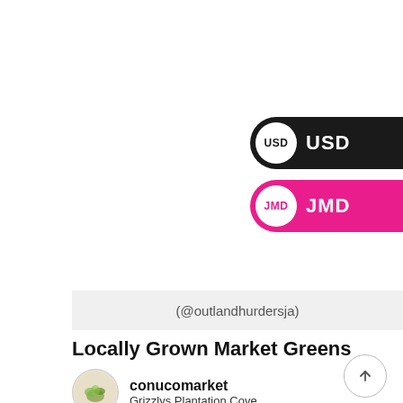[Figure (infographic): USD currency selector pill — dark background with white USD circle badge and white USD label text]
[Figure (infographic): JMD currency selector pill — pink/magenta background with white JMD circle badge and white JMD label text]
(@outlandhurdersja)
Locally Grown Market Greens
[Figure (logo): Round conucomarket logo — circular badge with leaf/plant motif]
conucomarket
Grizzlys Plantation Cove